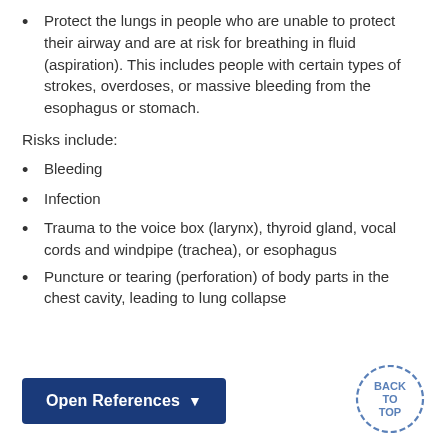Protect the lungs in people who are unable to protect their airway and are at risk for breathing in fluid (aspiration). This includes people with certain types of strokes, overdoses, or massive bleeding from the esophagus or stomach.
Risks include:
Bleeding
Infection
Trauma to the voice box (larynx), thyroid gland, vocal cords and windpipe (trachea), or esophagus
Puncture or tearing (perforation) of body parts in the chest cavity, leading to lung collapse
Open References
BACK TO TOP